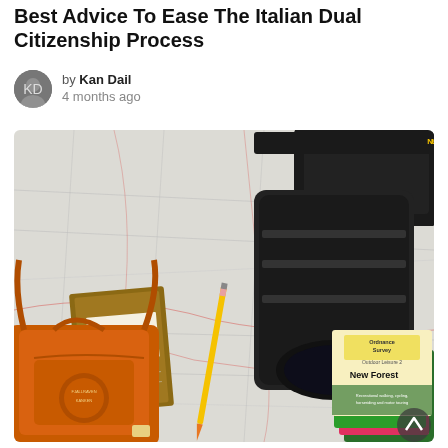Best Advice To Ease The Italian Dual Citizenship Process
by Kan Dail
4 months ago
[Figure (photo): Overhead flat-lay photo of a map spread on a surface, with a Nikon D4S camera and lens, a Field Notes notebook, a yellow pencil, an orange Fjallraven Kanken backpack, and Ordnance Survey New Forest Outdoor Leisure map booklets arranged on top.]